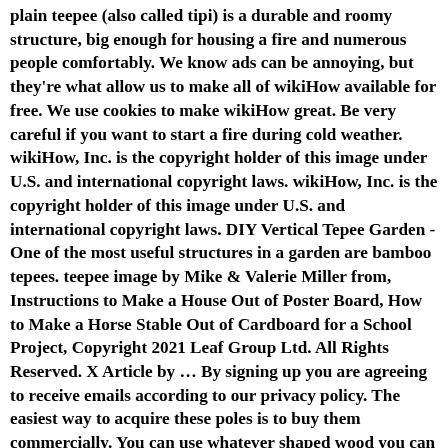plain teepee (also called tipi) is a durable and roomy structure, big enough for housing a fire and numerous people comfortably. We know ads can be annoying, but they're what allow us to make all of wikiHow available for free. We use cookies to make wikiHow great. Be very careful if you want to start a fire during cold weather. wikiHow, Inc. is the copyright holder of this image under U.S. and international copyright laws. wikiHow, Inc. is the copyright holder of this image under U.S. and international copyright laws. DIY Vertical Tepee Garden - One of the most useful structures in a garden are bamboo tepees. teepee image by Mike & Valerie Miller from, Instructions to Make a House Out of Poster Board, How to Make a Horse Stable Out of Cardboard for a School Project, Copyright 2021 Leaf Group Ltd. All Rights Reserved. X Article by … By signing up you are agreeing to receive emails according to our privacy policy. The easiest way to acquire these poles is to buy them commercially. You can use whatever shaped wood you can find. It should not be, strictly speaking, symmetrical, but more of an isosceles triangle. Glue the cut twig segments into the inner side of the card stock pattern so the twigs will extend out of the pointed top of the teepee. This image is not</b> licensed under the Creative Commons license applied to text content and some other images posted to the wikiHow website. If you use the measurements used in this article, you should be able to comfortably fit up to 4 average sized people. Collect the right stones then place on the bottom